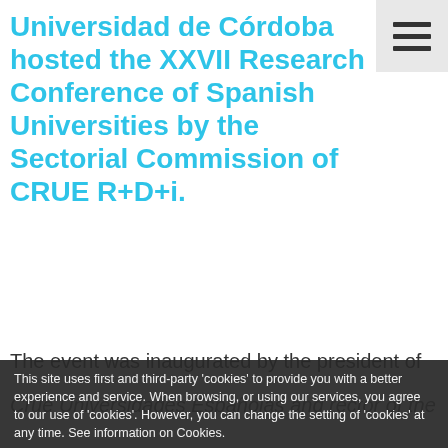Universidad de Córdoba hosted the XXVII Research Conference of Spanish Universities by the Sectorial Commission of CRUE R+D+i.
[Figure (other): Hamburger menu icon button (three horizontal bars) in the top-right corner, with a light gray background.]
The event was inaugurated by the president of Crue Universidades Españolas and rector of the ... Gómez Villanueva ... Ministry of ... Research and Technology ... R...
This site uses first and third-party 'cookies' to provide you with a better experience and service. When browsing, or using our services, you agree to our use of 'cookies'. However, you can change the setting of 'cookies' at any time. See information on Cookies.